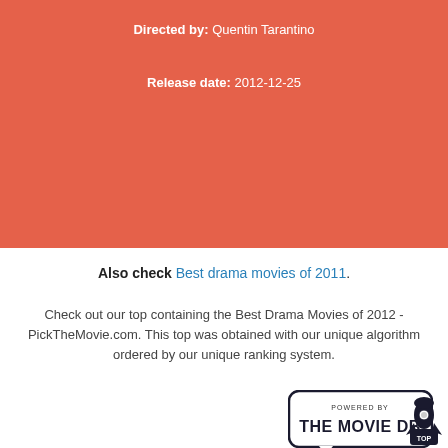James Remar, David Steen, Dana Gourrier...
Directed by: Quentin Tarantino
Release date: 2012-12-25
Also check Best drama movies of 2011.
Check out our top containing the Best Drama Movies of 2012 - PickTheMovie.com. This top was obtained with our unique algorithm ordered by our unique ranking system.
[Figure (logo): POWERED BY THE MOVIE DB logo in rounded rectangle]
[Figure (logo): TOP rocket logo]